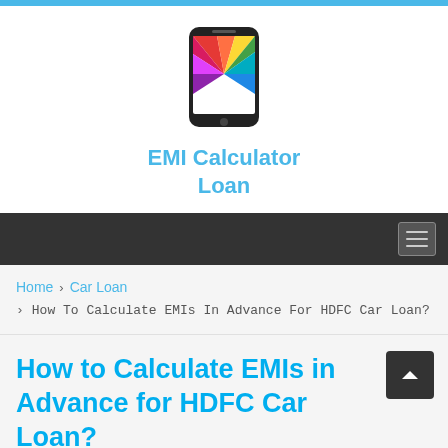[Figure (logo): EMI Calculator Loan app icon showing a smartphone with colorful rays, above text 'EMI Calculator Loan']
EMI Calculator Loan
Home > Car Loan
> How To Calculate EMIs In Advance For HDFC Car Loan?
How to Calculate EMIs in Advance for HDFC Car Loan?